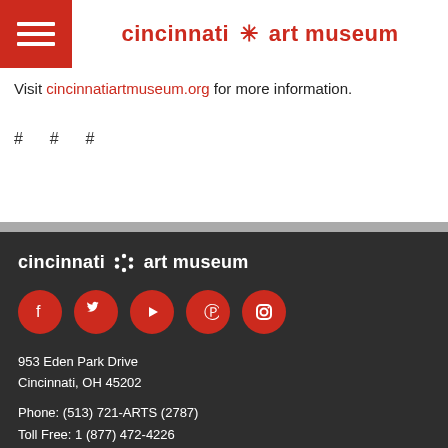cincinnati * art museum
Visit cincinnatiartmuseum.org for more information.
# # #
[Figure (logo): Cincinnati Art Museum footer logo with social media icons (Facebook, Twitter, YouTube, Pinterest, Instagram) and address: 953 Eden Park Drive, Cincinnati, OH 45202, Phone: (513) 721-ARTS (2787), Toll Free: 1 (877) 472-4226]